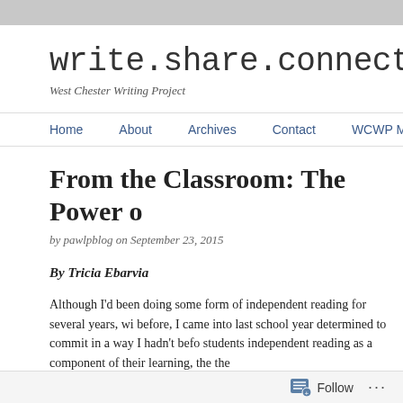write.share.connect
West Chester Writing Project
Home   About   Archives   Contact   WCWP Main Pag
From the Classroom: The Power o
by pawlpblog on September 23, 2015
By Tricia Ebarvia
Although I'd been doing some form of independent reading for several years, wi before, I came into last school year determined to commit in a way I hadn't befo students independent reading as a component of their learning, the the